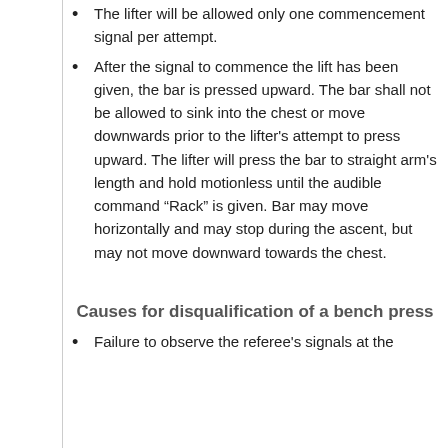The lifter will be allowed only one commencement signal per attempt.
After the signal to commence the lift has been given, the bar is pressed upward. The bar shall not be allowed to sink into the chest or move downwards prior to the lifter's attempt to press upward. The lifter will press the bar to straight arm's length and hold motionless until the audible command “Rack” is given. Bar may move horizontally and may stop during the ascent, but may not move downward towards the chest.
Causes for disqualification of a bench press
Failure to observe the referee's signals at the